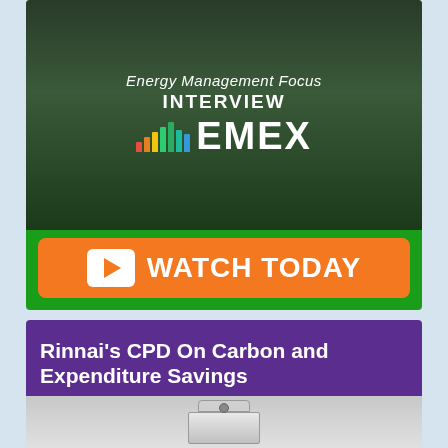[Figure (illustration): Energy Management Focus Interview EMEX promotional banner with green background, landscape/technology imagery, bar chart icon, and orange WATCH TODAY button with play icon]
Visit our dedicated EMEX Playlist For All Our Energy Management Focus Interviews. Click Image To Read More
Rinnai's CPD On Carbon and Expenditure Savings
[Figure (photo): Rinnai boiler/water heater unit photographed on light grey background]